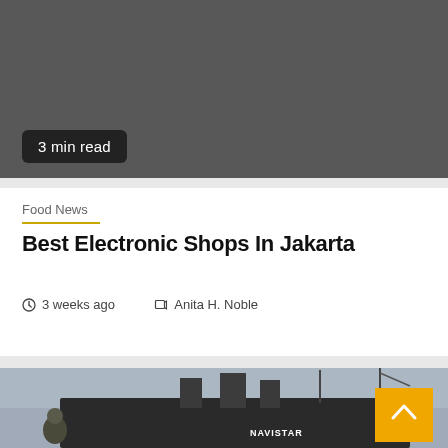[Figure (photo): Dark gray image placeholder at top of article card]
3 min read
Food News
Best Electronic Shops In Jakarta
3 weeks ago   Anita H. Noble
[Figure (photo): Photo of a port scene with a large ship named NAVISTAR, ship masts and cranes visible against a cloudy sky, a person in military-style clothing in the foreground]